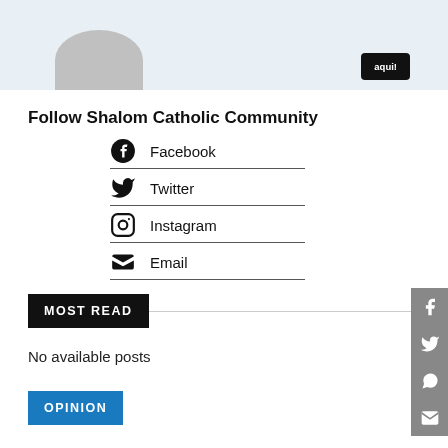[Figure (illustration): Top banner with a grey avatar placeholder shape and a black button with text 'aqui!']
Follow Shalom Catholic Community
Facebook
Twitter
Instagram
Email
MOST READ
No available posts
OPINION